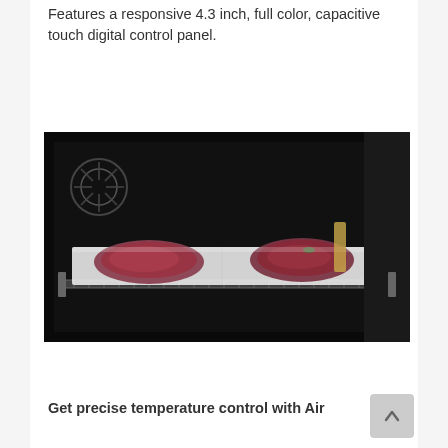Features a responsive 4.3 inch, full color, capacitive touch digital control panel.
[Figure (photo): Interior view of an oven with two raw steaks on a clear/white tray placed on the oven rack. The oven interior is dark with metallic rack visible.]
Get precise temperature control with Air